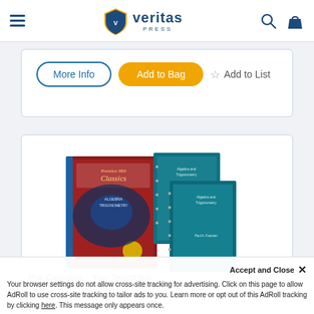Veritas Press
[Figure (screenshot): More Info and Add to Bag buttons with Add to List option]
[Figure (photo): Pre-Calculus You Teach Kit — textbook and workbooks shown]
Pre-Calculus - You Teach Kit
Your browser settings do not allow cross-site tracking for advertising. Click on this page to allow AdRoll to use cross-site tracking to tailor ads to you. Learn more or opt out of this AdRoll tracking by clicking here. This message only appears once.
The author, Paul Forrester...